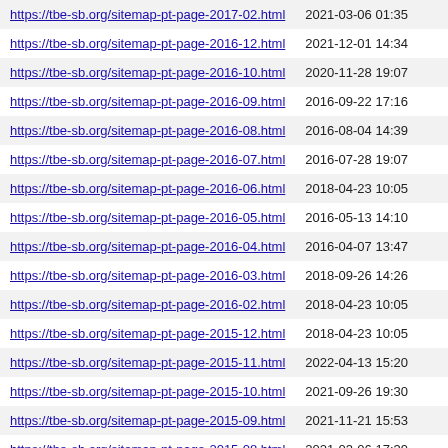| https://tbe-sb.org/sitemap-pt-page-2017-02.html | 2021-03-06 01:35 |
| https://tbe-sb.org/sitemap-pt-page-2016-12.html | 2021-12-01 14:34 |
| https://tbe-sb.org/sitemap-pt-page-2016-10.html | 2020-11-28 19:07 |
| https://tbe-sb.org/sitemap-pt-page-2016-09.html | 2016-09-22 17:16 |
| https://tbe-sb.org/sitemap-pt-page-2016-08.html | 2016-08-04 14:39 |
| https://tbe-sb.org/sitemap-pt-page-2016-07.html | 2016-07-28 19:07 |
| https://tbe-sb.org/sitemap-pt-page-2016-06.html | 2018-04-23 10:05 |
| https://tbe-sb.org/sitemap-pt-page-2016-05.html | 2016-05-13 14:10 |
| https://tbe-sb.org/sitemap-pt-page-2016-04.html | 2016-04-07 13:47 |
| https://tbe-sb.org/sitemap-pt-page-2016-03.html | 2018-09-26 14:26 |
| https://tbe-sb.org/sitemap-pt-page-2016-02.html | 2018-04-23 10:05 |
| https://tbe-sb.org/sitemap-pt-page-2015-12.html | 2018-04-23 10:05 |
| https://tbe-sb.org/sitemap-pt-page-2015-11.html | 2022-04-13 15:20 |
| https://tbe-sb.org/sitemap-pt-page-2015-10.html | 2021-09-26 19:30 |
| https://tbe-sb.org/sitemap-pt-page-2015-09.html | 2021-11-21 15:53 |
| https://tbe-sb.org/sitemap-pt-page-2015-08.html | 2021-03-06 17:39 |
| https://tbe-sb.org/sitemap-pt-page-2014-11.html | 2019-08-21 14:07 |
| https://tbe-sb.org/sitemap-pt-page-2014-09.html | 2020-09-16 22:39 |
| https://tbe-sb.org/sitemap-pt-page-2014-06.html | 2022-04-13 15:08 |